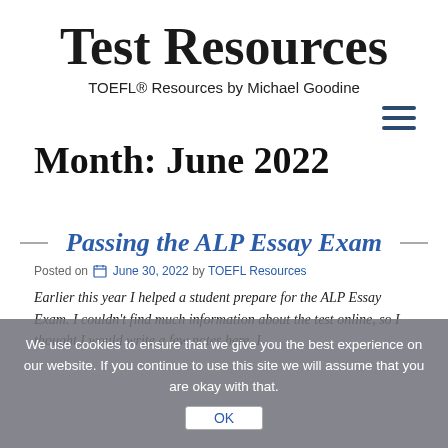Test Resources
TOEFL® Resources by Michael Goodine
Month: June 2022
Passing the ALP Essay Exam
Posted on June 30, 2022 by TOEFL Resources
Earlier this year I helped a student prepare for the ALP Essay Exam. I couldn't find much information about the test online, so I thought I would write a few notes here.  I
We use cookies to ensure that we give you the best experience on our website. If you continue to use this site we will assume that you are okay with that.